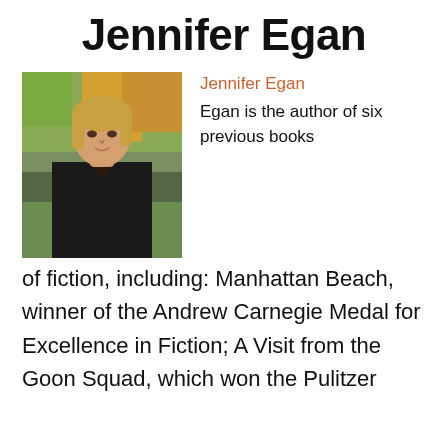Jennifer Egan
[Figure (photo): Portrait photo of Jennifer Egan, a woman with blonde hair wearing a black top, outdoors with autumn foliage in the background.]
Jennifer Egan
Egan is the author of six previous books of fiction, including: Manhattan Beach, winner of the Andrew Carnegie Medal for Excellence in Fiction; A Visit from the Goon Squad, which won the Pulitzer